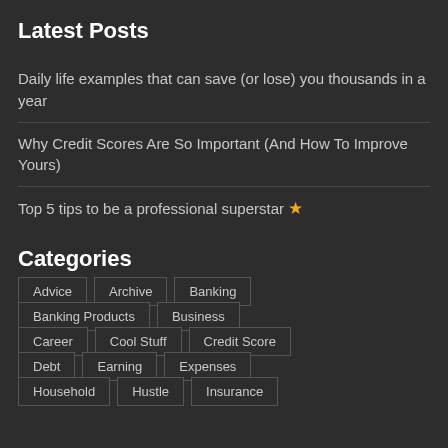Latest Posts
Daily life examples that can save (or lose) you thousands in a year
Why Credit Scores Are So Important (And How To Improve Yours)
Top 5 tips to be a professional superstar ⭐
Categories
Advice
Archive
Banking
Banking Products
Business
Career
Cool Stuff
Credit Score
Debt
Earning
Expenses
Household
Hustle
Insurance